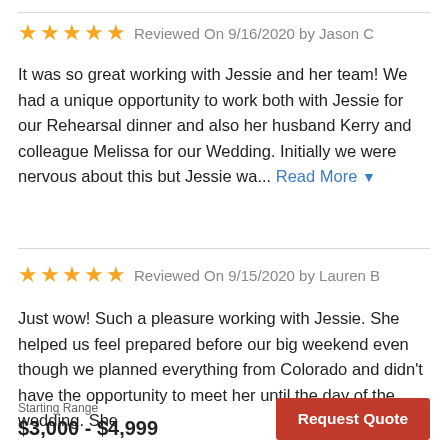★★★★★ Reviewed On 9/16/2020 by Jason C
It was so great working with Jessie and her team! We had a unique opportunity to work both with Jessie for our Rehearsal dinner and also her husband Kerry and colleague Melissa for our Wedding. Initially we were nervous about this but Jessie wa... Read More
★★★★★ Reviewed On 9/15/2020 by Lauren B
Just wow! Such a pleasure working with Jessie. She helped us feel prepared before our big weekend even though we planned everything from Colorado and didn't have the opportunity to meet her until the day of the wedding. She
Starting Range
$3,000 - $4,999
Request Quote